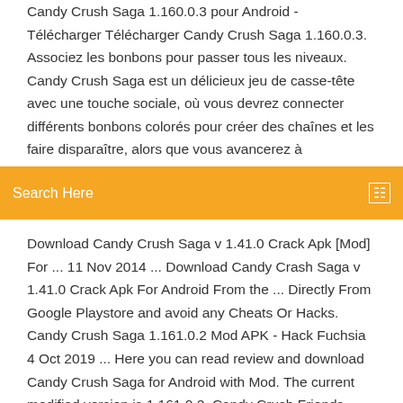Candy Crush Saga 1.160.0.3 pour Android - Télécharger Télécharger Candy Crush Saga 1.160.0.3. Associez les bonbons pour passer tous les niveaux. Candy Crush Saga est un délicieux jeu de casse-tête avec une touche sociale, où vous devrez connecter différents bonbons colorés pour créer des chaînes et les faire disparaître, alors que vous avancerez à
[Figure (other): Orange search bar with text 'Search Here' and a search icon on the right]
Download Candy Crush Saga v 1.41.0 Crack Apk [Mod] For ... 11 Nov 2014 ... Download Candy Crash Saga v 1.41.0 Crack Apk For Android From the ... Directly From Google Playstore and avoid any Cheats Or Hacks. Candy Crush Saga 1.161.0.2 Mod APK - Hack Fuchsia 4 Oct 2019 ... Here you can read review and download Candy Crush Saga for Android with Mod. The current modified version is 1.161.0.2. Candy Crush Friends Saga 1.22.8 Apk + Mod (Live/Moves ... 7 Oct 2019 ... Candy Crush Friends Saga is a Casual Game for android download last version of